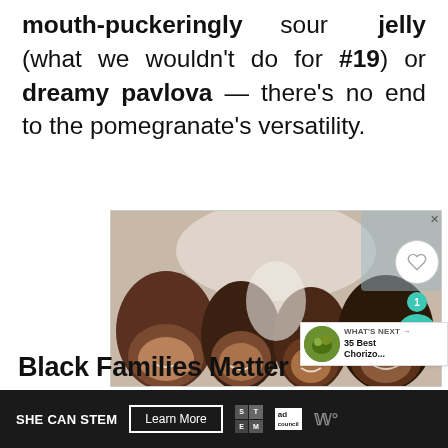mouth-puckeringly sour jelly (what we wouldn't do for #19) or dreamy pavlova — there's no end to the pomegranate's versatility.
[Figure (photo): Overhead photo of four smiling family members (two adults and two children) lying on a bed looking up at the camera, with an advertisement close (X) button in the top right corner of the ad frame.]
Black Families Matter
[Figure (infographic): Website advertisement bar at the bottom with dark background. Contains 'SHE CAN STEM' text in white, a 'Learn More' button with white border, STEM logo grid, Ad Council logo, and a media brand logo.]